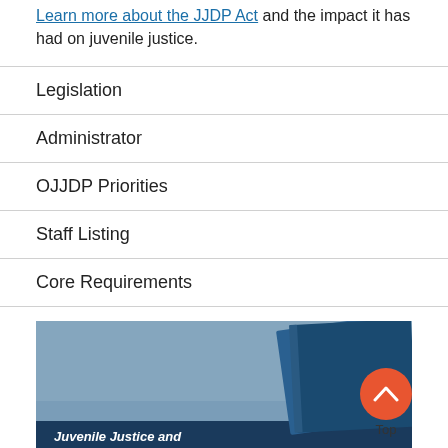Learn more about the JJDP Act and the impact it has had on juvenile justice.
Legislation
Administrator
OJJDP Priorities
Staff Listing
Core Requirements
[Figure (photo): Cover image of a book titled 'Juvenile Justice and...' with a blue background and dark book shapes visible. A red circular 'Top' button is overlaid in the bottom right corner.]